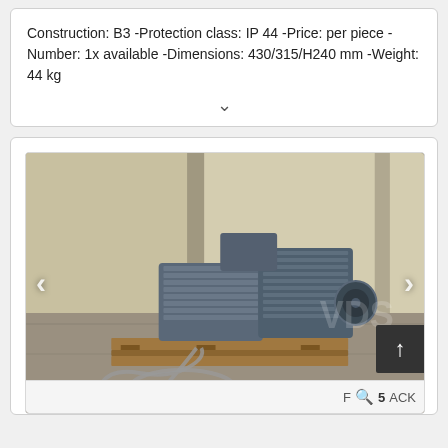Construction: B3 -Protection class: IP 44 -Price: per piece -Number: 1x available -Dimensions: 430/315/H240 mm -Weight: 44 kg
[Figure (photo): Photo of an industrial electric motor (blue/grey) sitting on a wooden pallet on a concrete floor, with cables attached, inside a warehouse or storage area. Navigation arrows (< >) on left and right sides of the image. A scroll-up button in dark grey is visible at bottom right. Below the image: a partial bottom bar with a zoom icon and the number 5, and partial text 'F ... ACK'.]